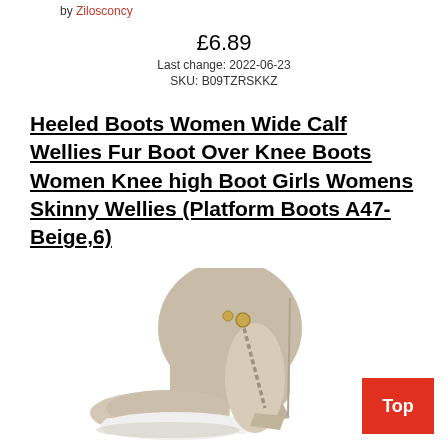by Zilosconcy
£6.89
Last change: 2022-06-23
SKU: B09TZRSKKZ
Heeled Boots Women Wide Calf Wellies Fur Boot Over Knee Boots Women Knee high Boot Girls Womens Skinny Wellies (Platform Boots A47-Beige,6)
[Figure (photo): Beige/taupe women's platform wedge sneaker boot with side zipper and white sole]
Top